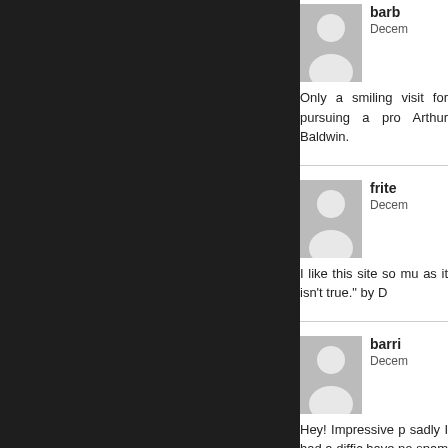[Figure (screenshot): Dark left sidebar panel]
barb
Decem
Only a smiling visit for pursuing a pro Arthur Baldwin.
frite
Decem
I like this site so mu as it isn't true." by D
barri
Decem
Hey! Impressive p sadly I had a diffic have no spam com